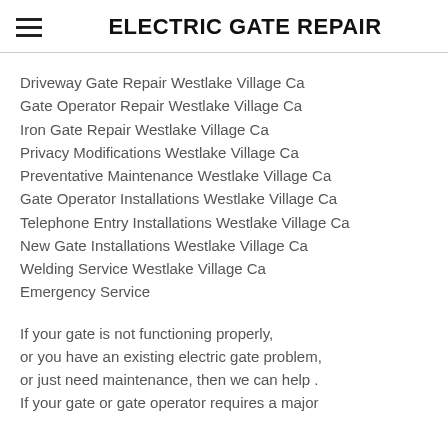ELECTRIC GATE REPAIR
Driveway Gate Repair Westlake Village Ca
Gate Operator Repair Westlake Village Ca
Iron Gate Repair Westlake Village Ca
Privacy Modifications Westlake Village Ca
Preventative Maintenance Westlake Village Ca
Gate Operator Installations Westlake Village Ca
Telephone Entry Installations Westlake Village Ca
New Gate Installations Westlake Village Ca
Welding Service Westlake Village Ca
Emergency Service
If your gate is not functioning properly, or you have an existing electric gate problem, or just need maintenance, then we can help . If your gate or gate operator requires a major